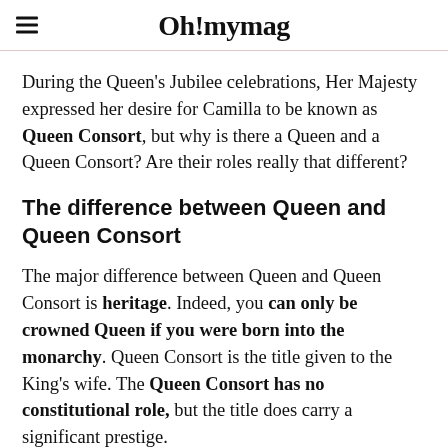Oh! mymag
During the Queen's Jubilee celebrations, Her Majesty expressed her desire for Camilla to be known as Queen Consort, but why is there a Queen and a Queen Consort? Are their roles really that different?
The difference between Queen and Queen Consort
The major difference between Queen and Queen Consort is heritage. Indeed, you can only be crowned Queen if you were born into the monarchy. Queen Consort is the title given to the King's wife. The Queen Consort has no constitutional role, but the title does carry a significant prestige.